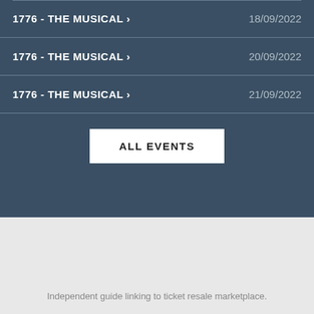1776 - THE MUSICAL >   18/09/2022
1776 - THE MUSICAL >   20/09/2022
1776 - THE MUSICAL >   21/09/2022
ALL EVENTS
Independent guide linking to ticket resale marketplace.